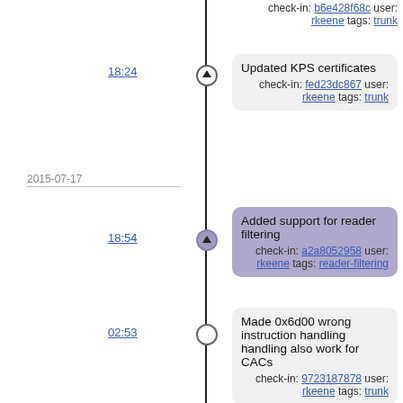check-in: b6e428f68c user: rkeene tags: trunk
18:24
Updated KPS certificates
check-in: fed23dc867 user: rkeene tags: trunk
2015-07-17
18:54
Added support for reader filtering
check-in: a2a8052958 user: rkeene tags: reader-filtering
02:53
Made 0x6d00 wrong instruction handling handling also work for CACs
check-in: 9723187878 user: rkeene tags: trunk
2015-07-16
17:04
Updated Windows zlib build
check-in: 526fde7c45 user: rkeene tags: trunk
16:50
Updated RPM spec file description and email address
check-in: 2cb25c581d user: rkeene tags: trunk
16:20
CACKey 0.7.4